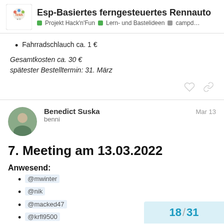Esp-Basiertes ferngesteuertes Rennauto | Projekt Hack'n'Fun | Lern- und Bastelideen | campd...
Fahrradschlauch ca. 1 €
Gesamtkosten ca. 30 €
spätester Bestelltermin: 31. März
Benedict Suska
benni
Mar 13
7. Meeting am 13.03.2022
Anwesend:
@mwinter
@nik
@macked47
@krfl9500
18 / 31